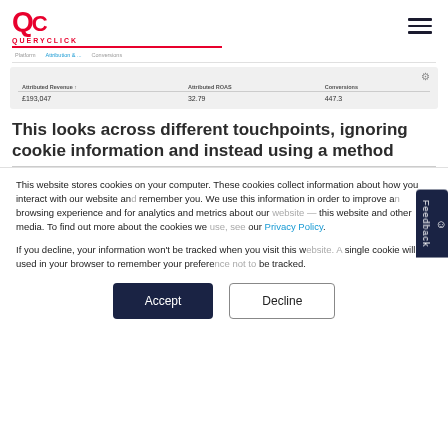QueryClick logo and navigation
| Attributed Revenue ↑ | Attributed ROAS | Conversions |
| --- | --- | --- |
| £193,047 | 32.79 | 447.3 |
This looks across different touchpoints, ignoring cookie information and instead using a method
This website stores cookies on your computer. These cookies collect information about how you interact with our website and remember you. We use this information in order to improve and browsing experience and for analytics and metrics about our website and other media. To find out more about the cookies we use, see our Privacy Policy.
If you decline, your information won't be tracked when you visit this website. A single cookie will be used in your browser to remember your preference not to be tracked.